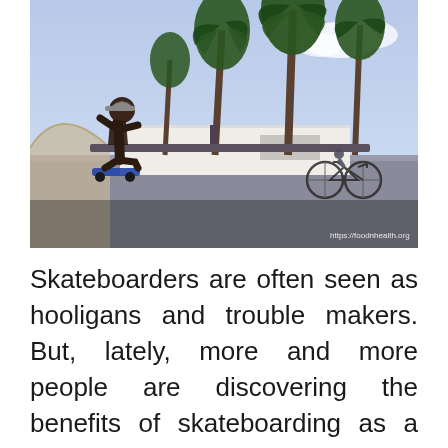[Figure (photo): A skateboarder mid-air performing a trick at an outdoor skate park with palm trees in the background and a person on a bicycle visible in the distance. The sky is light blue with some clouds. Watermark reads https://foodnhealth.org]
Skateboarders are often seen as hooligans and trouble makers. But, lately, more and more people are discovering the benefits of skateboarding as a hobby and sport. It has become more popular among children and adolescents and has even been accepted as